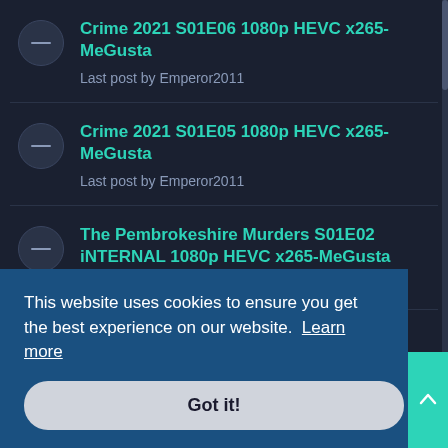Crime 2021 S01E06 1080p HEVC x265-MeGusta
Last post by Emperor2011
Crime 2021 S01E05 1080p HEVC x265-MeGusta
Last post by Emperor2011
The Pembrokeshire Murders S01E02 iNTERNAL 1080p HEVC x265-MeGusta
Last post by Emperor2011
The Rehe S01E03 SUBBED 1080p HEVC x265-MeGusta
Last post by Emperor2011
The Rehearsal S01E0[ 1080p HEVC x265-MeGusta
Last post by Emperor2011
This website uses cookies to ensure you get the best experience on our website.  Learn more
Got it!